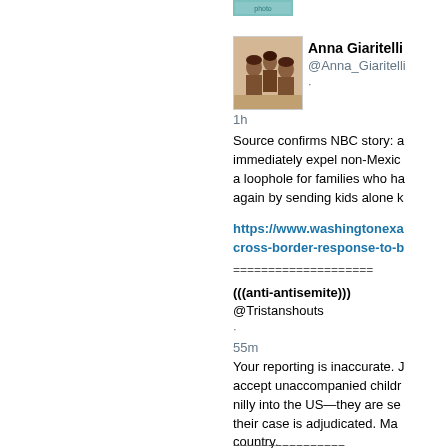[Figure (photo): Small thumbnail image at top, partially cut off, teal/blue colored]
[Figure (photo): Profile avatar photo showing a vintage group photo of people, sepia-toned]
Anna Giaritelli
@Anna_Giaritelli
·
1h
Source confirms NBC story: immediately expel non-Mexico a loophole for families who ha again by sending kids alone k
https://www.washingtonexa cross-border-response-to-b
====================
(((anti-antisemite)))
@Tristanshouts
·
55m
Your reporting is inaccurate. accept unaccompanied childr nilly into the US—they are se their case is adjudicated. Ma country.
=====